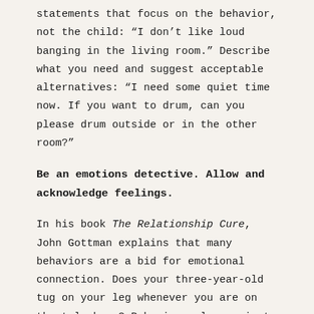statements that focus on the behavior, not the child: “I don’t like loud banging in the living room.” Describe what you need and suggest acceptable alternatives: “I need some quiet time now. If you want to drum, can you please drum outside or in the other room?”
Be an emotions detective. Allow and acknowledge feelings.
In his book The Relationship Cure, John Gottman explains that many behaviors are a bid for emotional connection. Does your three-year-old tug on your leg whenever you are on the telephone? Behaviors clue us in to underlying feelings and needs. To address the